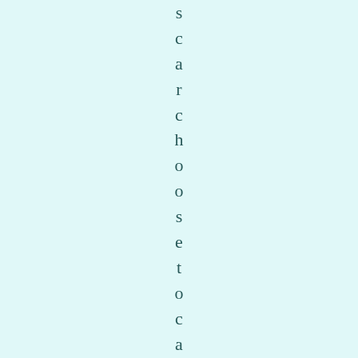scarc hoose to cam ponig norin g